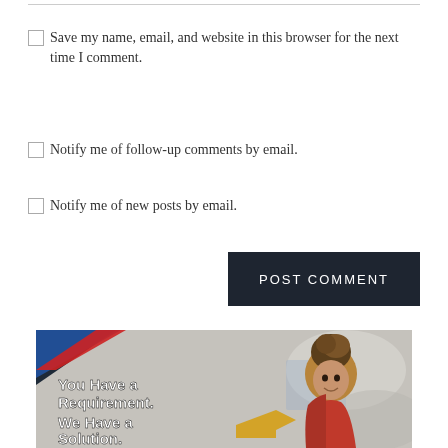Save my name, email, and website in this browser for the next time I comment.
Notify me of follow-up comments by email.
Notify me of new posts by email.
POST COMMENT
[Figure (photo): Advertisement banner with a smiling woman with braided updo hair wearing a red jacket, against an office background. Text overlay reads: 'You Have a Requirement. We Have a Solution.' with a dark navy and red/blue stripe corner design.]